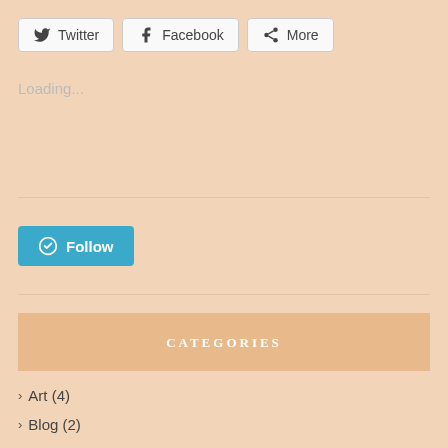[Figure (screenshot): Share buttons row: Twitter, Facebook, More]
Loading...
[Figure (screenshot): WordPress Follow button in teal/blue color]
CATEGORIES
> Art (4)
> Blog (2)